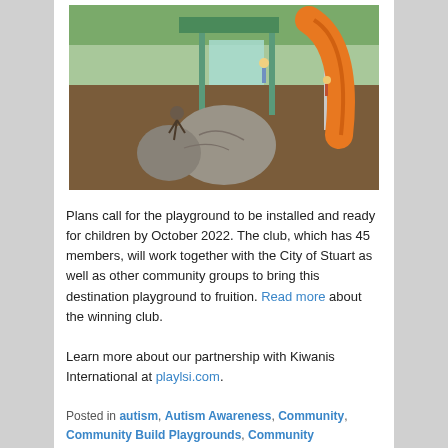[Figure (photo): Rendered 3D illustration of a playground with rock climbing boulders, rope climber, green/teal play structure, and an orange slide on a brown rubberized surface with green grass in background.]
Plans call for the playground to be installed and ready for children by October 2022. The club, which has 45 members, will work together with the City of Stuart as well as other community groups to bring this destination playground to fruition. Read more about the winning club.
Learn more about our partnership with Kiwanis International at playlsi.com.
Posted in autism, Autism Awareness, Community, Community Build Playgrounds, Community Playgrounds, Community Wellness, early childhood, Healthy kids,